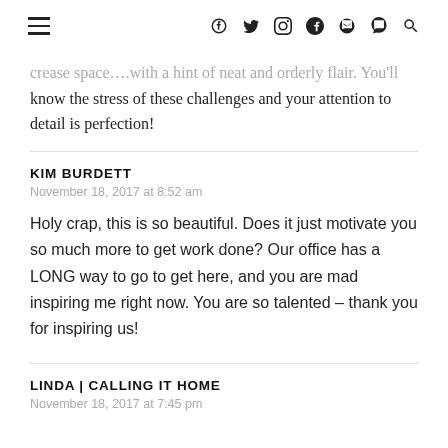≡  f  🐦  ◎  ⓟ  RSS  🔍
…crease space….with a hint of neat and orderly flair. You'll know the stress of these challenges and your attention to detail is perfection!
KIM BURDETT
November 18, 2017 at 8:52 am
Holy crap, this is so beautiful. Does it just motivate you so much more to get work done? Our office has a LONG way to go to get here, and you are mad inspiring me right now. You are so talented – thank you for inspiring us!
LINDA | CALLING IT HOME
November 18, 2017 at 7:45 pm